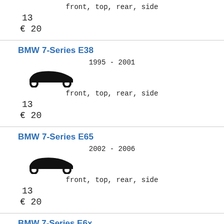front, top, rear, side
13
€ 20
BMW 7-Series E38
1995 - 2001
[Figure (illustration): Silhouette of a car (sedan) viewed from the side, black fill]
front, top, rear, side
13
€ 20
BMW 7-Series E65
2002 - 2006
[Figure (illustration): Silhouette of a car (sedan) viewed from the side, black fill]
front, top, rear, side
13
€ 20
BMW 7-Series E6x